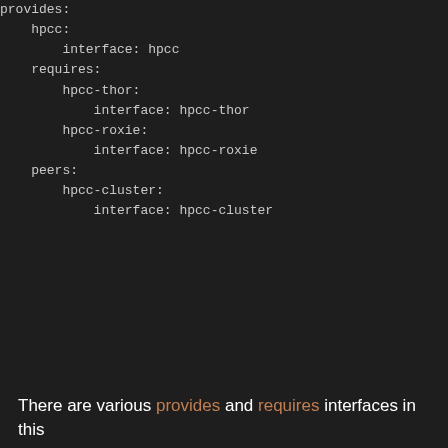provides:
  hpcc:
    interface: hpcc
  requires:
    hpcc-thor:
      interface: hpcc-thor
    hpcc-roxie:
      interface: hpcc-roxie
  peers:
    hpcc-cluster:
      interface: hpcc-cluster
There are various provides and requires interfaces in this